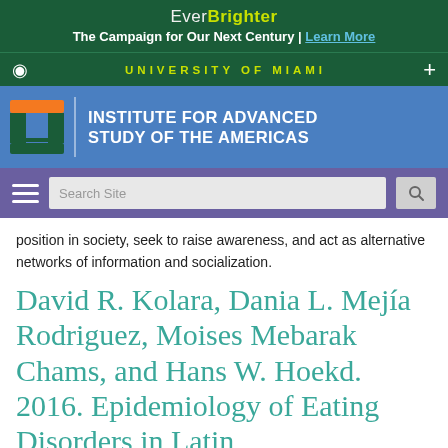EverBrighter
The Campaign for Our Next Century | Learn More
UNIVERSITY OF MIAMI
[Figure (logo): University of Miami Institute for Advanced Study of the Americas logo with orange and green U mark]
position in society, seek to raise awareness, and act as alternative networks of information and socialization.
David R. Kolara, Dania L. Mejía Rodriguez, Moises Mebarak Chams, and Hans W. Hoekd. 2016. Epidemiology of Eating Disorders in Latin